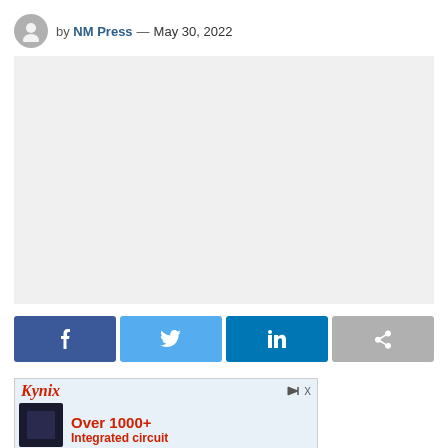by NM Press — May 30, 2022
[Figure (other): Large light grey placeholder image area]
[Figure (other): Social share buttons row: Facebook (dark blue), Twitter (light blue), LinkedIn (teal blue), Share (grey)]
[Figure (other): Kynix advertisement banner with logo, chip image, text 'Over 1000+ Integrated circuit']